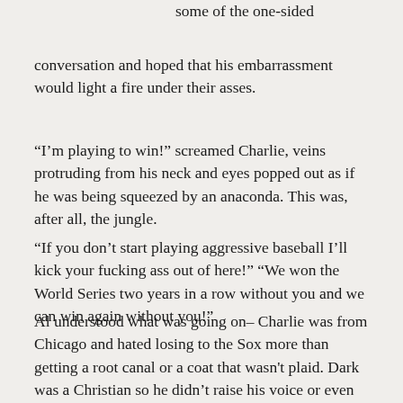some of the one-sided conversation and hoped that his embarrassment would light a fire under their asses.
“I’m playing to win!” screamed Charlie, veins protruding from his neck and eyes popped out as if he was being squeezed by an anaconda. This was, after all, the jungle.
“If you don’t start playing aggressive baseball I’ll kick your fucking ass out of here!” “We won the World Series two years in a row without you and we can win again without you!”
Al understood what was going on– Charlie was from Chicago and hated losing to the Sox more than getting a root canal or a coat that wasn't plaid. Dark was a Christian so he didn’t raise his voice or even curse. He just sat there, eyes staring directly ahead in an omnipresent out-of-body experience that lasted about 30 seconds until he snapped out of it.